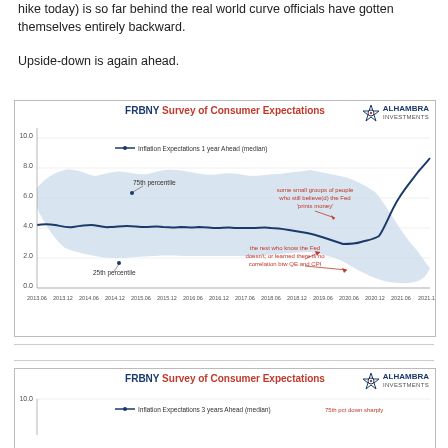hike today) is so far behind the real world curve officials have gotten themselves entirely backward.
Upside-down is again ahead.
[Figure (line-chart): Line chart showing Inflation Expectations 1 year Ahead (median) from 2013 to 2021, with shaded area between 25th and 75th percentile. The median line starts around 3.0, stays relatively flat ~2.5-3.0 from 2013-2019, then rises sharply to ~6.0 by late 2021. Annotations indicate 'some small groups of people who still believe(d) the Fed prints money' pointing to upper band, and 'the rest who know the Fed doesn't; or learned there is no correlation btw QE and CPI' pointing to lower range.]
[Figure (line-chart): Partial view of chart showing Inflation Expectations 3 years Ahead (median). Title and top portion visible with annotation '75th pct down sharply'.]